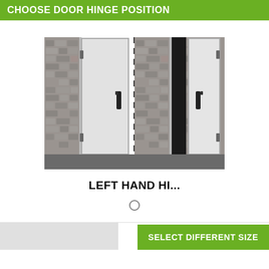CHOOSE DOOR HINGE POSITION
[Figure (photo): Two steel doors mounted in a stone wall. Left half shows a closed door with handle on the right side and hinges on the left. Right half shows the same door open, revealing a dark opening behind it. A dashed line divides the two halves.]
LEFT HAND HI...
SELECT DIFFERENT SIZE